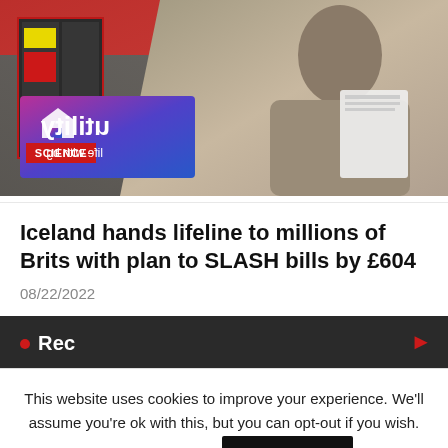[Figure (photo): Photograph of a man holding papers looking stressed, with an Iceland/utility store entrance visible on the left side. A 'Utility life with bg' logo with Science badge overlaid in bottom-left of image.]
Iceland hands lifeline to millions of Brits with plan to SLASH bills by £604
08/22/2022
This website uses cookies to improve your experience. We'll assume you're ok with this, but you can opt-out if you wish.
Cookie settings
ACCEPT